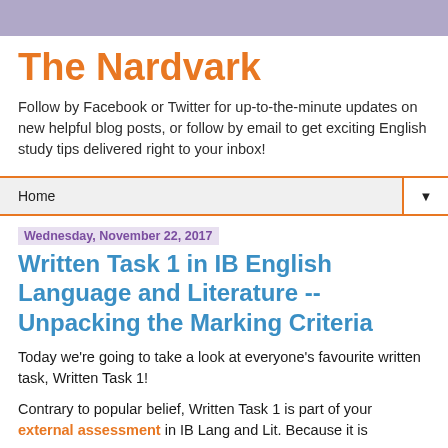The Nardvark
Follow by Facebook or Twitter for up-to-the-minute updates on new helpful blog posts, or follow by email to get exciting English study tips delivered right to your inbox!
Home
Wednesday, November 22, 2017
Written Task 1 in IB English Language and Literature -- Unpacking the Marking Criteria
Today we're going to take a look at everyone's favourite written task, Written Task 1!
Contrary to popular belief, Written Task 1 is part of your external assessment in IB Lang and Lit. Because it is